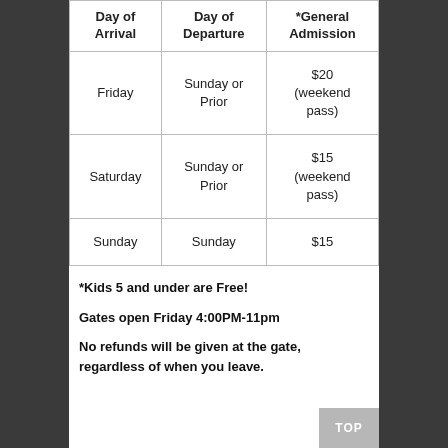| Day of Arrival | Day of Departure | *General Admission |
| --- | --- | --- |
| Friday | Sunday or Prior | $20 (weekend pass) |
| Saturday | Sunday or Prior | $15 (weekend pass) |
| Sunday | Sunday | $15 |
*Kids 5 and under are Free!
Gates open Friday 4:00PM-11pm
No refunds will be given at the gate, regardless of when you leave.